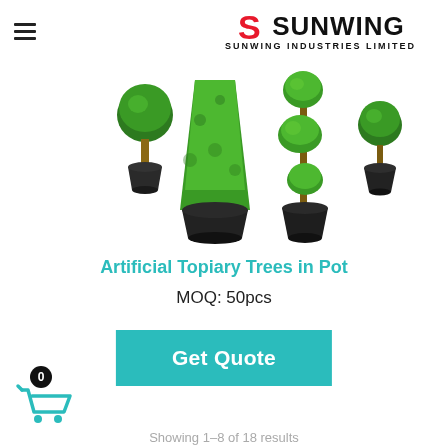Sunwing Industries Limited
[Figure (photo): Photo of multiple artificial topiary trees in black plastic pots, showing various shapes including cone, spiral, and ball topiary, with lush green foliage.]
Artificial Topiary Trees in Pot
MOQ: 50pcs
Get Quote
[Figure (other): Shopping cart icon with badge showing 0]
Showing 1–8 of 18 results